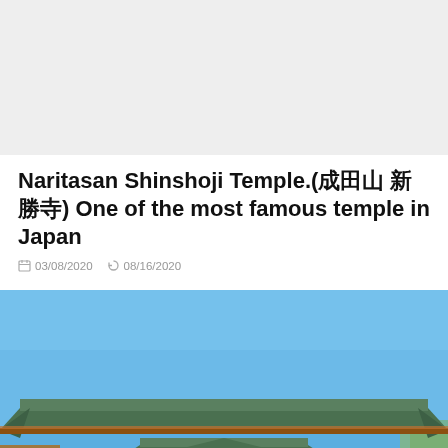[Figure (other): Gray advertisement/banner placeholder area at top of page]
Naritasan Shinshoji Temple.(成田山 新勝寺) One of the most famous temple in Japan
03/08/2020  08/16/2020
[Figure (photo): Photo of Naritasan Shinshoji Temple showing traditional Japanese architecture with large sweeping green-tiled roofs against a clear blue sky, wooden structure with columns and latticed windows]